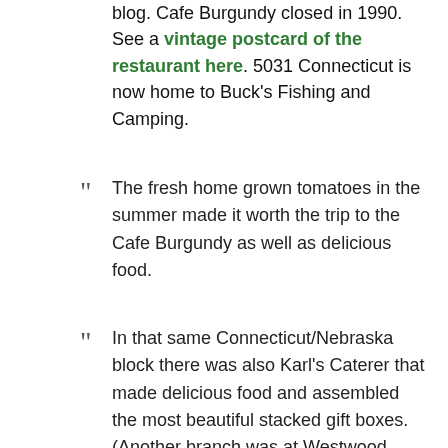blog. Cafe Burgundy closed in 1990. See a vintage postcard of the restaurant here. 5031 Connecticut is now home to Buck's Fishing and Camping.
The fresh home grown tomatoes in the summer made it worth the trip to the Cafe Burgundy as well as delicious food.
In that same Connecticut/Nebraska block there was also Karl's Caterer that made delicious food and assembled the most beautiful stacked gift boxes. (Another branch was at Westwood Shopping Center in Bethesda) And a yarn shop…Was